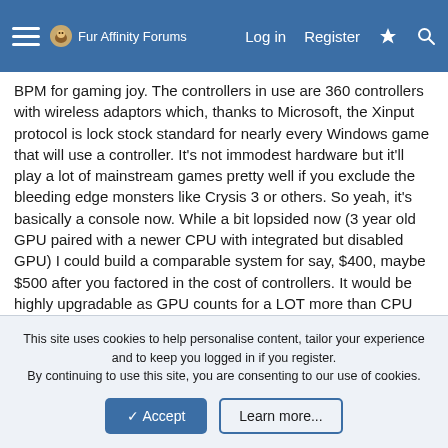Fur Affinity Forums — Log in  Register
BPM for gaming joy. The controllers in use are 360 controllers with wireless adaptors which, thanks to Microsoft, the Xinput protocol is lock stock standard for nearly every Windows game that will use a controller. It's not immodest hardware but it'll play a lot of mainstream games pretty well if you exclude the bleeding edge monsters like Crysis 3 or others. So yeah, it's basically a console now. While a bit lopsided now (3 year old GPU paired with a newer CPU with integrated but disabled GPU) I could build a comparable system for say, $400, maybe $500 after you factored in the cost of controllers. It would be highly upgradable as GPU counts for a LOT more than CPU these days, a lot more flexible, and, unlike consoles, games would be routinely on sale for peanuts.
So why do I need a console anymore?
This site uses cookies to help personalise content, tailor your experience and to keep you logged in if you register.
By continuing to use this site, you are consenting to our use of cookies.